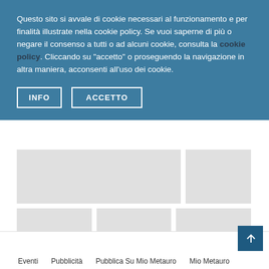Questo sito si avvale di cookie necessari al funzionamento e per finalità illustrate nella cookie policy. Se vuoi saperne di più o negare il consenso a tutti o ad alcuni cookie, consulta la cookie policy. Cliccando su "accetto" o proseguendo la navigazione in altra maniera, acconsenti all'uso dei cookie.
INFO
ACCETTO
[Figure (other): Gray placeholder boxes in a grid layout showing loading content placeholders]
Eventi   Pubblicità   Pubblica Su Mio Metauro   Mio Metauro